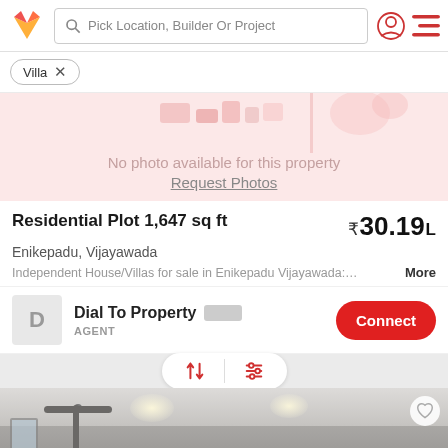Pick Location, Builder Or Project
Villa ×
[Figure (photo): No photo placeholder card with pink background, decorative block shapes, text: No photo available for this property / Request Photos]
Residential Plot 1,647 sq ft
₹30.19 L
Enikepadu, Vijayawada
Independent House/Villas for sale in Enikepadu Vijayawada:…  More
Dial To Property  AGENT  Connect
[Figure (photo): Interior room photo showing ceiling fan, recessed lights, and walls. Sort/filter buttons overlay at top center.]